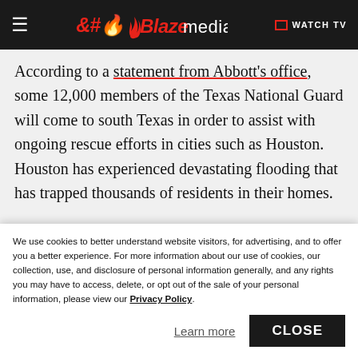Blaze Media — WATCH TV
According to a statement from Abbott's office, some 12,000 members of the Texas National Guard will come to south Texas in order to assist with ongoing rescue efforts in cities such as Houston. Houston has experienced devastating flooding that has trapped thousands of residents in their homes.
“It is imperative that we do everything possible to protect the lives and safety of people across the
We use cookies to better understand website visitors, for advertising, and to offer you a better experience. For more information about our use of cookies, our collection, use, and disclosure of personal information generally, and any rights you may have to access, delete, or opt out of the sale of your personal information, please view our Privacy Policy.
Learn more
CLOSE